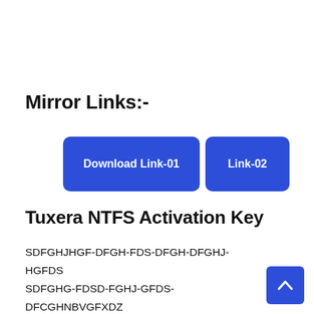Mirror Links:-
[Figure (other): Two blue rounded-rectangle download buttons: 'Download Link-01' and 'Link-02']
Tuxera NTFS Activation Key
SDFGHJHGF-DFGH-FDS-DFGH-DFGHJ-HGFDS
SDFGHG-FDSD-FGHJ-GFDS-DFCGHNBVGFXDZ
SDFG-FDSZFD-GHDGFZSX-BFHGSER-SDXHGF